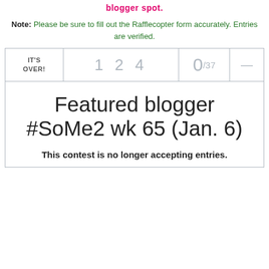blogger spot.
Note: Please be sure to fill out the Rafflecopter form accurately. Entries are verified.
| IT'S OVER! | 1 2 4 | 0/37 | — |
| --- | --- | --- | --- |
| Featured blogger #SoMe2 wk 65 (Jan. 6) |  |  |  |
| This contest is no longer accepting entries. |  |  |  |
Featured blogger #SoMe2 wk 65 (Jan. 6)
This contest is no longer accepting entries.